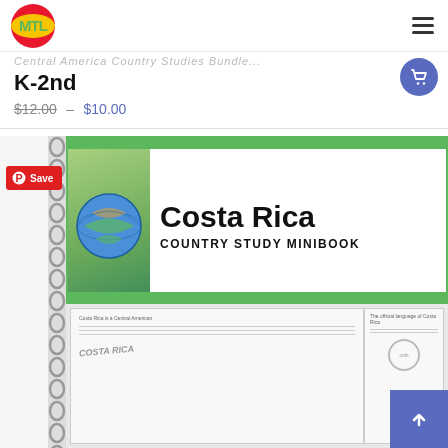MTL logo and navigation menu
K-2nd
$12.00 – $10.00
[Figure (photo): Costa Rica Country Study Minibook product image showing a spiral-bound minibook cover with globe graphic, title 'Costa Rica COUNTRY STUDY MINIBOOK', and sample interior worksheet pages below]